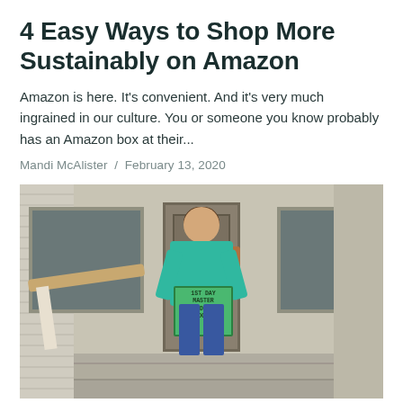4 Easy Ways to Shop More Sustainably on Amazon
Amazon is here. It's convenient. And it's very much ingrained in our culture. You or someone you know probably has an Amazon box at their...
Mandi McAlister / February 13, 2020
[Figure (photo): A smiling woman in a teal sweater holding a green sign reading 'MASTER GARDENER' standing in front of a building with steps, railing, windows and a door]